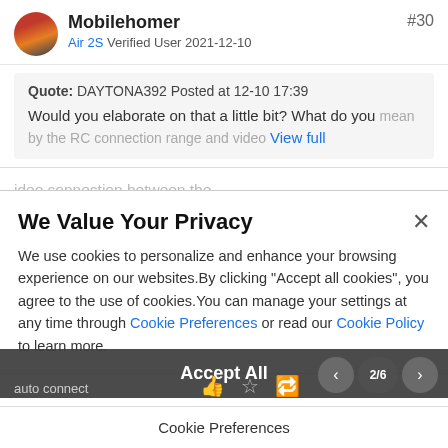Mobilehomer  Air 2S Verified User 2021-12-10  #30
Quote: DAYTONA392 Posted at 12-10 17:39
Would you elaborate on that a little bit? What do you mean by the RC connection range and video  View full
ideo connection between the controller and drone. Sometimes that connection is lose while the control signal is still strong. There are many YT videos showing this. Before, I could fly several hundred yards after video loss, now the video lasts almost as long as the control signal. And you do not need a video de ler to fly. You can fly with auto connect
We Value Your Privacy
We use cookies to personalize and enhance your browsing experience on our websites.By clicking "Accept all cookies", you agree to the use of cookies.You can manage your settings at any time through Cookie Preferences or read our Cookie Policy to learn more.
Accept All
Cookie Preferences